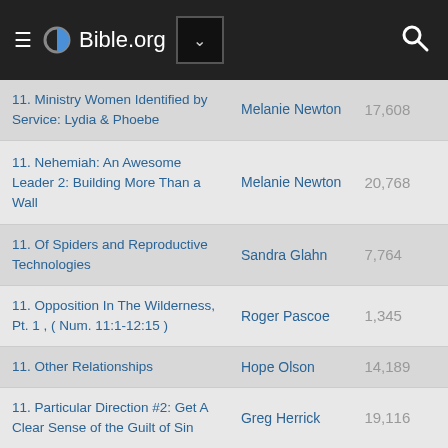Bible.org
| Title | Author | Views |
| --- | --- | --- |
| 11. Ministry Women Identified by Service: Lydia & Phoebe | Melanie Newton | 17,608 |
| 11. Nehemiah: An Awesome Leader 2: Building More Than a Wall | Melanie Newton | 20,768 |
| 11. Of Spiders and Reproductive Technologies | Sandra Glahn | 7,764 |
| 11. Opposition In The Wilderness, Pt. 1 , ( Num. 11:1-12:15 ) | Roger Pascoe | 1,345 |
| 11. Other Relationships | Hope Olson | 14,189 |
| 11. Particular Direction #2: Get A Clear Sense of the Guilt of Sin | Greg Herrick | 19,116 |
| 11. Passion Week: Sunday - Wednesday | Dave Dawson | 12,231 |